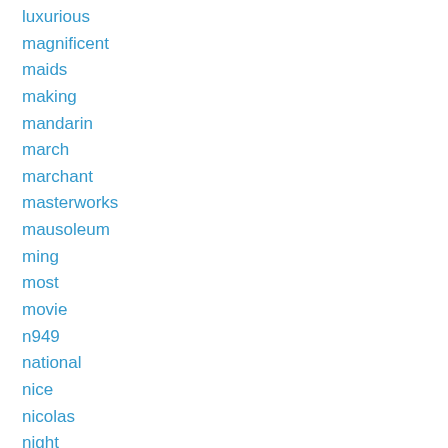luxurious
magnificent
maids
making
mandarin
march
marchant
masterworks
mausoleum
ming
most
movie
n949
national
nice
nicolas
night
octagonal
october
offers